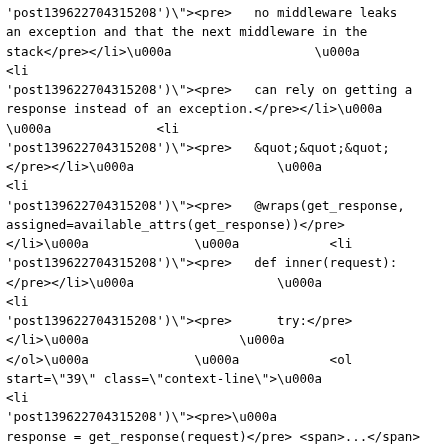'post139622704315208')\">&lt;pre&gt;   no middleware leaks an exception and that the next middleware in the stack&lt;/pre&gt;&lt;/li&gt;\u000a                   \u000a &lt;li onclick=\"toggle('pre139622704315208', 'post139622704315208')\">&lt;pre&gt;   can rely on getting a response instead of an exception.&lt;/pre&gt;&lt;/li&gt;\u000a \u000a              &lt;li onclick=\"toggle('pre139622704315208', 'post139622704315208')\">&lt;pre&gt;   &quot;&quot;&quot; &lt;/pre&gt;&lt;/li&gt;\u000a                    \u000a &lt;li onclick=\"toggle('pre139622704315208', 'post139622704315208')\">&lt;pre&gt;   @wraps(get_response, assigned=available_attrs(get_response))&lt;/pre&gt; &lt;/li&gt;\u000a              \u000a            &lt;li onclick=\"toggle('pre139622704315208', 'post139622704315208')\">&lt;pre&gt;   def inner(request): &lt;/pre&gt;&lt;/li&gt;\u000a                   \u000a &lt;li onclick=\"toggle('pre139622704315208', 'post139622704315208')\">&lt;pre&gt;      try:&lt;/pre&gt; &lt;/li&gt;\u000a                    \u000a &lt;/ol&gt;\u000a              \u000a            &lt;ol start=\"39\" class=\"context-line\"&gt;\u000a &lt;li onclick=\"toggle('pre139622704315208', 'post139622704315208')\">&lt;pre&gt;\u000a response = get_response(request)&lt;/pre&gt; &lt;span&gt;...&lt;/span&gt; &lt;/li&gt;&lt;/ol&gt;\u000a                   \u000a              &lt;ol start='40' class=\"post-context\" id=\"post139622704315208\"&gt;\u000a \u000a              &lt;li onclick=\"toggle('pre139622704315208',